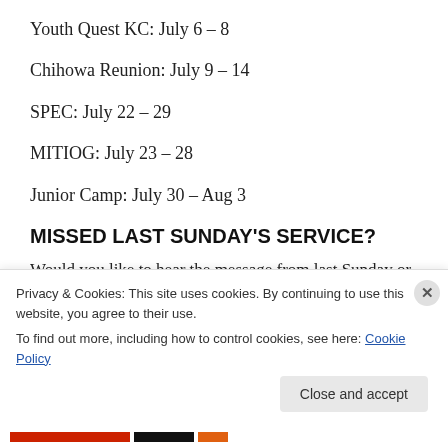Youth Quest KC: July 6 – 8
Chihowa Reunion: July 9 – 14
SPEC: July 22 – 29
MITIOG: July 23 – 28
Junior Camp: July 30 – Aug 3
MISSED LAST SUNDAY'S SERVICE?
Would you like to hear the message from last Sunday or a
Privacy & Cookies: This site uses cookies. By continuing to use this website, you agree to their use. To find out more, including how to control cookies, see here: Cookie Policy